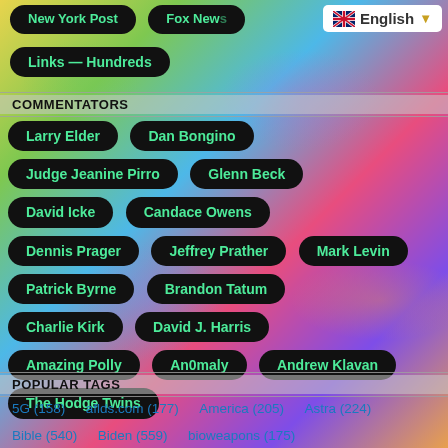New York Post
Fox News
Links — Hundreds
[Figure (screenshot): Language selector widget showing UK flag and 'English' text with dropdown arrow]
COMMENTATORS
Larry Elder
Dan Bongino
Judge Jeanine Pirro
Glenn Beck
David Icke
Candace Owens
Dennis Prager
Jeffrey Prather
Mark Levin
Patrick Byrne
Brandon Tatum
Charlie Kirk
David J. Harris
Amazing Polly
An0maly
Andrew Klavan
The Hodge Twins
POPULAR TAGS
5G (158)
aflds.com (177)
America (205)
Astra (224)
Bible (540)
Biden (559)
bioweapons (175)